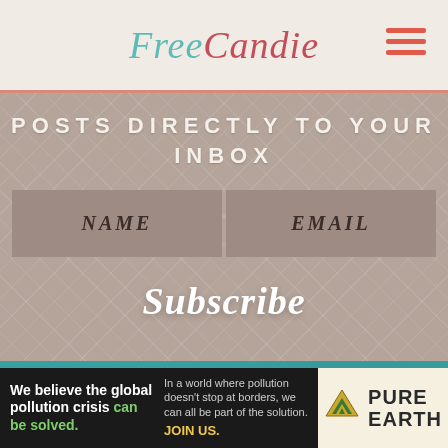[Figure (logo): FreeCandie logo in teal and red italic script font, with hamburger menu icon in red on the right]
POSTS DIRECTLY TO YOUR INBOX
NAME
EMAIL
Subscribe
TRAVEL
LIFESTYLE
WRITING
We believe the global pollution crisis can be solved. In a world where pollution doesn't stop at borders, we can all be part of the solution. JOIN US.
[Figure (logo): Pure Earth logo with diamond/arrow icon and PURE EARTH text]